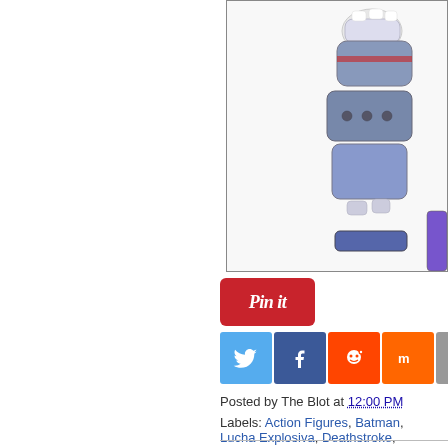[Figure (photo): Action figure / toy with white and grey/blue armor segments, partially visible in upper right corner of page]
[Figure (infographic): Pinterest 'Pin it' button - red rounded rectangle with 'Pin it' text in white italic]
[Figure (infographic): Row of social sharing icon buttons: Twitter (blue bird), Facebook (blue f), Reddit (orange alien), Mix (orange), Email (grey envelope)]
Posted by The Blot at 12:00 PM
Labels: Action Figures, Batman, Lucha Explosiva, Deathstroke,
SHAZAM! Movie Pop Figures by Funko